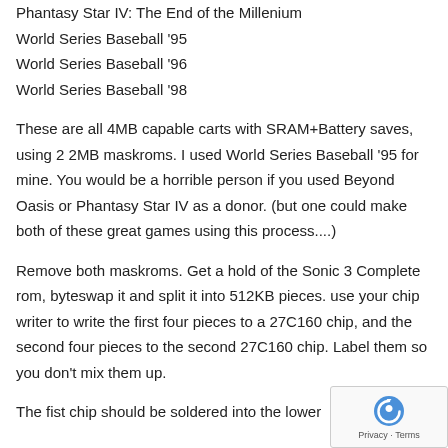Phantasy Star IV: The End of the Millenium
World Series Baseball '95
World Series Baseball '96
World Series Baseball '98
These are all 4MB capable carts with SRAM+Battery saves, using 2 2MB maskroms. I used World Series Baseball '95 for mine. You would be a horrible person if you used Beyond Oasis or Phantasy Star IV as a donor. (but one could make both of these great games using this process....)
Remove both maskroms. Get a hold of the Sonic 3 Complete rom, byteswap it and split it into 512KB pieces. use your chip writer to write the first four pieces to a 27C160 chip, and the second four pieces to the second 27C160 chip. Label them so you don't mix them up.
The fist chip should be soldered into the lower